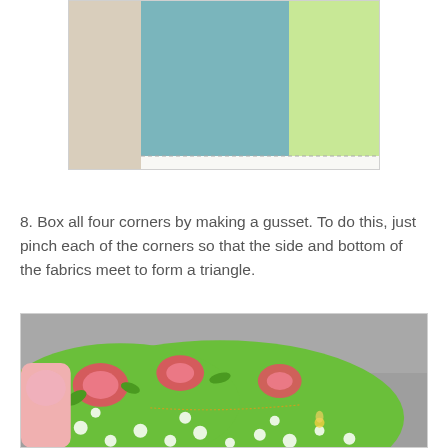[Figure (illustration): Diagram showing fabric swatches — beige strip on left, teal/blue rectangle in center, light green rectangle on right, with dashed lines at the bottom of the colored panels]
8.  Box all four corners by making a gusset.  To do this, just pinch each of the corners so that the side and bottom of the fabrics meet to form a triangle.
[Figure (photo): Photograph of green floral and polka-dot fabric pinched at a corner to form a gusset/triangle, shown against a gray background]